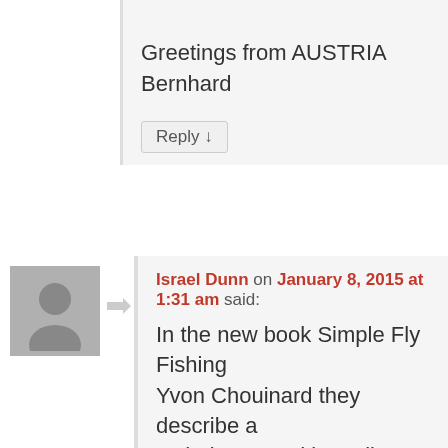Perfect description!
Greetings from AUSTRIA
Bernhard
Reply ↓
Israel Dunn on January 8, 2015 at 1:31 am said:
In the new book Simple Fly Fishing by Yvon Chouinard they describe a technique used by Italian cane pole fisherman that is basically tossing it in the water and letting the drag fig fish. Once the fish starts to tire the out a bit, grab the rod, and land the